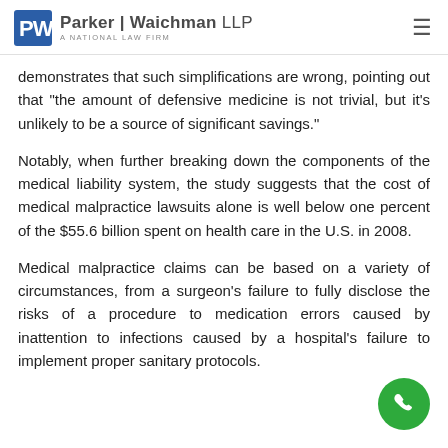Parker | Waichman LLP — A National Law Firm
demonstrates that such simplifications are wrong, pointing out that "the amount of defensive medicine is not trivial, but it's unlikely to be a source of significant savings."
Notably, when further breaking down the components of the medical liability system, the study suggests that the cost of medical malpractice lawsuits alone is well below one percent of the $55.6 billion spent on health care in the U.S. in 2008.
Medical malpractice claims can be based on a variety of circumstances, from a surgeon's failure to fully disclose the risks of a procedure to medication errors caused by inattention to infections caused by a hospital's failure to implement proper sanitary protocols.